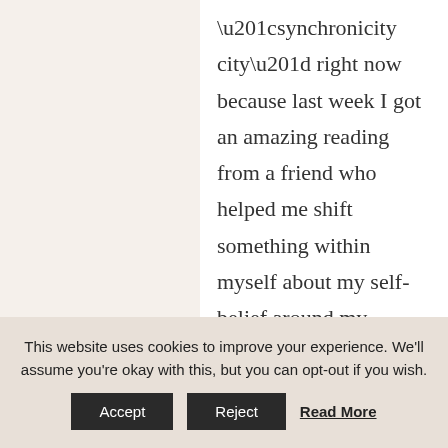“synchronicity city” right now because last week I got an amazing reading from a friend who helped me shift something within myself about my self-belief around my business. My feeling and vibration changed to something more positive and immediately I started to see more action in my business! My raw food courses filled up and I got 2 coaching enquiries! Thanks for the
This website uses cookies to improve your experience. We'll assume you're okay with this, but you can opt-out if you wish.